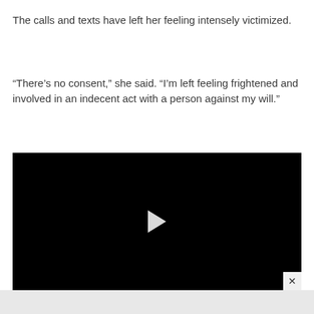The calls and texts have left her feeling intensely victimized.
“There’s no consent,” she said. “I’m left feeling frightened and involved in an indecent act with a person against my will.”
[Figure (screenshot): Black video player with white play button triangle in center and close (x) button in bottom-right corner]